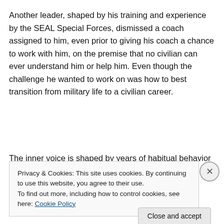Another leader, shaped by his training and experience by the SEAL Special Forces, dismissed a coach assigned to him, even prior to giving his coach a chance to work with him, on the premise that no civilian can ever understand him or help him. Even though the challenge he wanted to work on was how to best transition from military life to a civilian career.
The inner voice is shaped by years of habitual behavior
Privacy & Cookies: This site uses cookies. By continuing to use this website, you agree to their use.
To find out more, including how to control cookies, see here: Cookie Policy